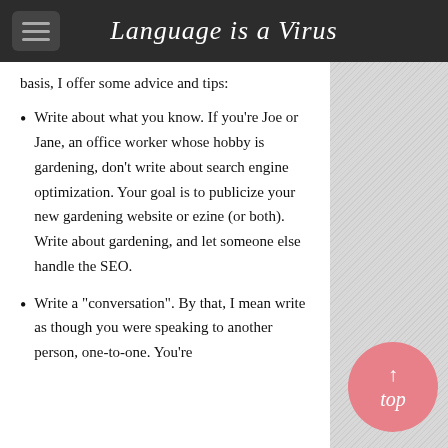Language is a Virus
basis, I offer some advice and tips:
Write about what you know. If you're Joe or Jane, an office worker whose hobby is gardening, don't write about search engine optimization. Your goal is to publicize your new gardening website or ezine (or both). Write about gardening, and let someone else handle the SEO.
Write a "conversation". By that, I mean write as though you were speaking to another person, one-to-one. You're